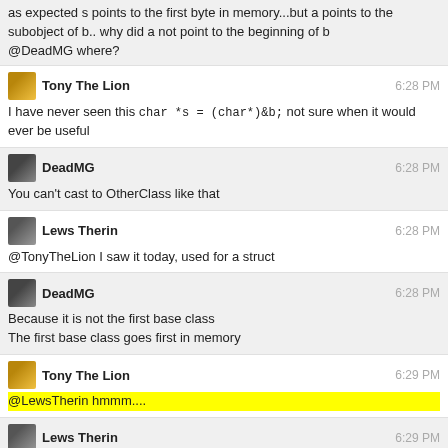as expected s points to the first byte in memory...but a points to the subobject of b.. why did a not point to the beginning of b
@DeadMG where?
Tony The Lion 6:28 PM
I have never seen this char *s = (char*)&b; not sure when it would ever be useful
DeadMG 6:28 PM
You can't cast to OtherClass like that
Lews Therin 6:28 PM
@TonyTheLion I saw it today, used for a struct
DeadMG 6:28 PM
Because it is not the first base class
The first base class goes first in memory
Tony The Lion 6:29 PM
@LewsTherin hmmm....
Lews Therin 6:29 PM
@DeadMG That's what I was wondering... it shouldn't have worked. but the compiler allowed it
DeadMG 6:29 PM
It's a shitty C cast- that's what you get
Never use it